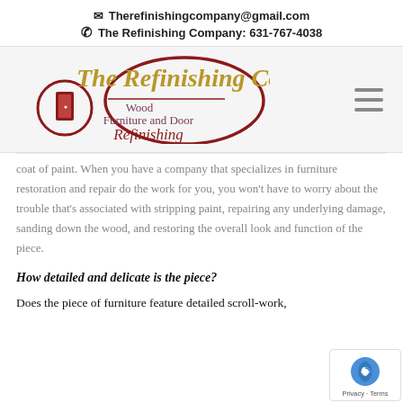✉ Therefinishingcompany@gmail.com
☎ The Refinishing Company: 631-767-4038
[Figure (logo): The Refinishing Co. logo — script gold lettering 'The Refinishing Co.' with a dark red oval frame enclosing a door graphic, subtitle 'Wood Furniture and Door Refinishing']
...coat of paint. When you have a company that specializes in furniture restoration and repair do the work for you, you won't have to worry about the trouble that's associated with stripping paint, repairing any underlying damage, sanding down the wood, and restoring the overall look and function of the piece.
How detailed and delicate is the piece?
Does the piece of furniture feature detailed scroll-work,